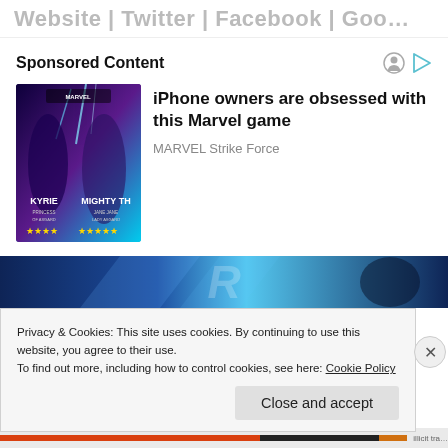Website | Twitter | Facebook | Goo…
Sponsored Content
[Figure (photo): Ad image for MARVEL Strike Force game showing characters Kyrie and Mighty Thor with star ratings]
iPhone owners are obsessed with this Marvel game
MARVEL Strike Force
[Figure (photo): Banner advertisement with blue background and partial letter R visible]
Privacy & Cookies: This site uses cookies. By continuing to use this website, you agree to their use.
To find out more, including how to control cookies, see here: Cookie Policy
Close and accept